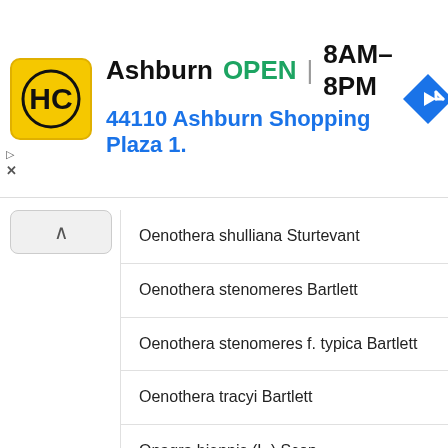[Figure (screenshot): Advertisement banner for HC store in Ashburn, showing logo, OPEN status, hours 8AM-8PM, address 44110 Ashburn Shopping Plaza 1., and navigation icon]
Oenothera shulliana Sturtevant
Oenothera stenomeres Bartlett
Oenothera stenomeres f. typica Bartlett
Oenothera tracyi Bartlett
Onagra biennis (L.) Scop.
Onagra biennis var. grandiflora
Onagra chrysantha var. grandiflora Spach
Onagra europaea Spach
Onagra muricata (L.) Moench
Onagra vulgaris Spach
Pseudo-oenothera virginiana Rupr.